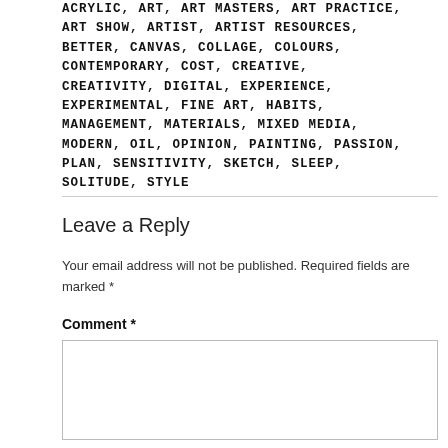ACRYLIC, ART, ART MASTERS, ART PRACTICE, ART SHOW, ARTIST, ARTIST RESOURCES, BETTER, CANVAS, COLLAGE, COLOURS, CONTEMPORARY, COST, CREATIVE, CREATIVITY, DIGITAL, EXPERIENCE, EXPERIMENTAL, FINE ART, HABITS, MANAGEMENT, MATERIALS, MIXED MEDIA, MODERN, OIL, OPINION, PAINTING, PASSION, PLAN, SENSITIVITY, SKETCH, SLEEP, SOLITUDE, STYLE
Leave a Reply
Your email address will not be published. Required fields are marked *
Comment *